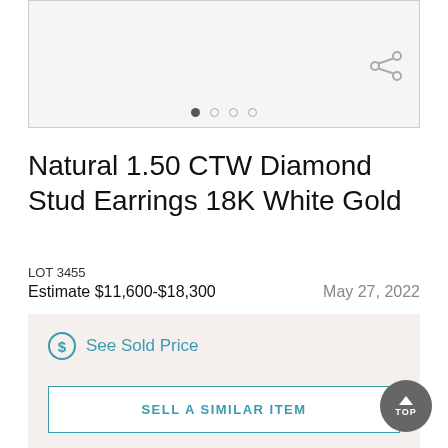[Figure (photo): Product image area for diamond stud earrings with navigation dots and share icon]
Natural 1.50 CTW Diamond Stud Earrings 18K White Gold
LOT 3455
Estimate $11,600-$18,300    May 27, 2022
See Sold Price
SELL A SIMILAR ITEM